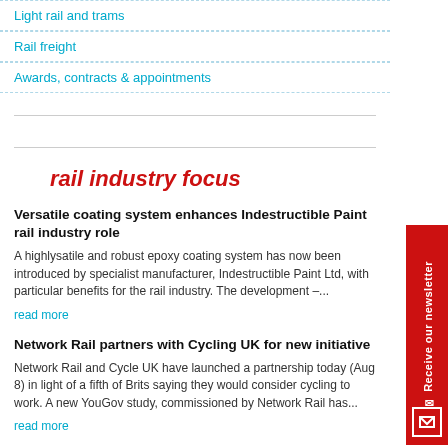Light rail and trams
Rail freight
Awards, contracts & appointments
rail industry focus
Versatile coating system enhances Indestructible Paint rail industry role
A highlysatile and robust epoxy coating system has now been introduced by specialist manufacturer, Indestructible Paint Ltd, with particular benefits for the rail industry. The development –...
read more
Network Rail partners with Cycling UK for new initiative
Network Rail and Cycle UK have launched a partnership today (Aug 8) in light of a fifth of Brits saying they would consider cycling to work. A new YouGov study, commissioned by Network Rail has...
read more